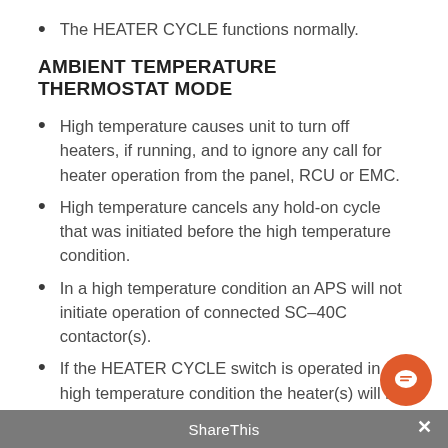The HEATER CYCLE functions normally.
AMBIENT TEMPERATURE THERMOSTAT MODE
High temperature causes unit to turn off heaters, if running, and to ignore any call for heater operation from the panel, RCU or EMC.
High temperature cancels any hold-on cycle that was initiated before the high temperature condition.
In a high temperature condition an APS will not initiate operation of connected SC–40C contactor(s).
If the HEATER CYCLE switch is operated in a high temperature condition the heater(s) will be turned on for a maximum of 30 seconds. A new HEATER CYCLE can not be initiated for another two minutes after that.
ShareThis